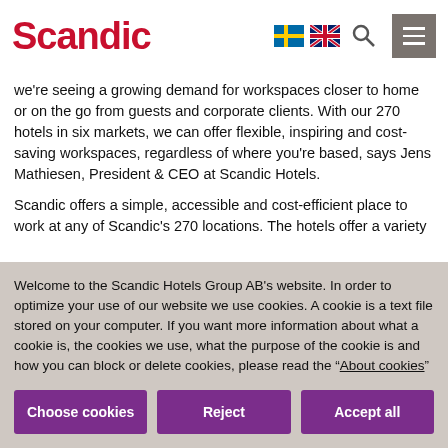Scandic
we're seeing a growing demand for workspaces closer to home or on the go from guests and corporate clients. With our 270 hotels in six markets, we can offer flexible, inspiring and cost-saving workspaces, regardless of where you're based, says Jens Mathiesen, President & CEO at Scandic Hotels.
Scandic offers a simple, accessible and cost-efficient place to work at any of Scandic's 270 locations. The hotels offer a variety
Welcome to the Scandic Hotels Group AB's website. In order to optimize your use of our website we use cookies. A cookie is a text file stored on your computer. If you want more information about what a cookie is, the cookies we use, what the purpose of the cookie is and how you can block or delete cookies, please read the “About cookies”
Choose cookies | Reject | Accept all